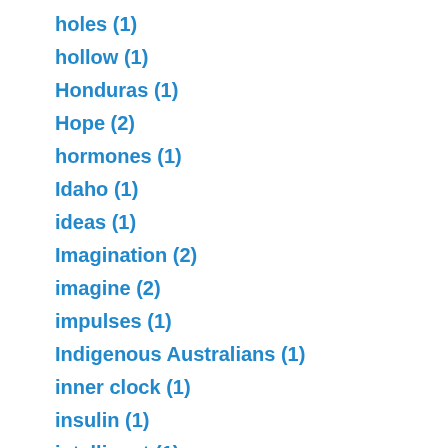holes (1)
hollow (1)
Honduras (1)
Hope (2)
hormones (1)
Idaho (1)
ideas (1)
Imagination (2)
imagine (2)
impulses (1)
Indigenous Australians (1)
inner clock (1)
insulin (1)
intelligent (1)
investment club (1)
Joe Biden (1)